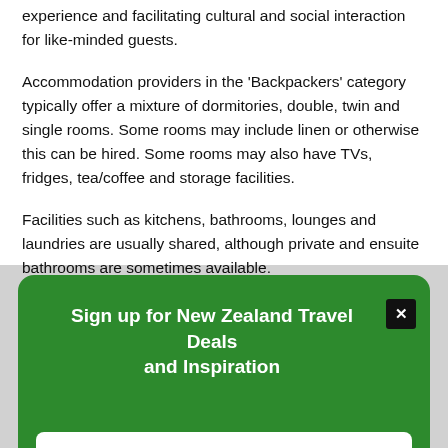experience and facilitating cultural and social interaction for like-minded guests.
Accommodation providers in the 'Backpackers' category typically offer a mixture of dormitories, double, twin and single rooms. Some rooms may include linen or otherwise this can be hired. Some rooms may also have TVs, fridges, tea/coffee and storage facilities.
Facilities such as kitchens, bathrooms, lounges and laundries are usually shared, although private and ensuite bathrooms are sometimes available.
[Figure (other): Green modal popup overlay with title 'Sign up for New Zealand Travel Deals and Inspiration', a close button (X), and a Subscribe button on white background.]